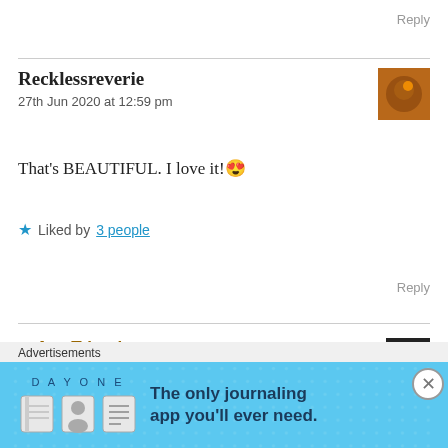Reply
Recklessreverie
27th Jun 2020 at 12:59 pm
That's BEAUTIFUL. I love it! 😍
★ Liked by 3 people
Reply
Ava Tripathy
27th Jun 2020 at 1:27 pm
[Figure (screenshot): Advertisement banner for DayOne journaling app with blue background, app icons, and text: 'The only journaling app you'll ever need.']